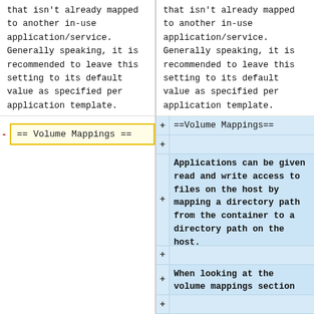that isn't already mapped to another in-use application/service.  Generally speaking, it is recommended to leave this setting to its default value as specified per application template.
that isn't already mapped to another in-use application/service.  Generally speaking, it is recommended to leave this setting to its default value as specified per application template.
== Volume Mappings ==
==Volume Mappings==
Applications can be given read and write access to files on the host by mapping a directory path from the container to a directory path on the host.
When looking at the volume mappings section